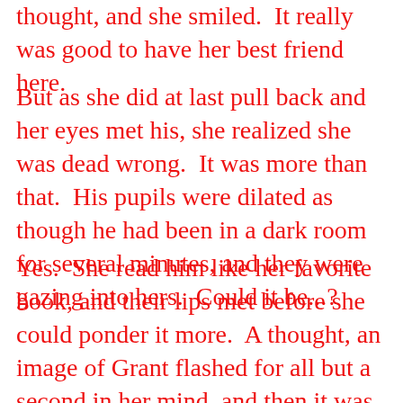thought, and she smiled. It really was good to have her best friend here.
But as she did at last pull back and her eyes met his, she realized she was dead wrong. It was more than that. His pupils were dilated as though he had been in a dark room for several minutes, and they were gazing into hers. Could it be...?
Yes. She read him like her favorite book, and their lips met before she could ponder it more. A thought, an image of Grant flashed for all but a second in her mind, and then it was swept away, along with any guilt she